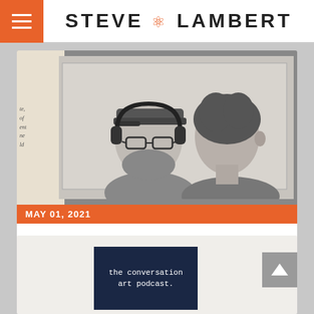STEVE LAMBERT
[Figure (photo): Black and white photograph of two people, one wearing headphones and a cap, the other looking towards them, layered over a newspaper clipping background]
MAY 01, 2021
SAVE KDVS
[Figure (screenshot): Dark navy card with white monospace text reading 'the conversation art podcast.']